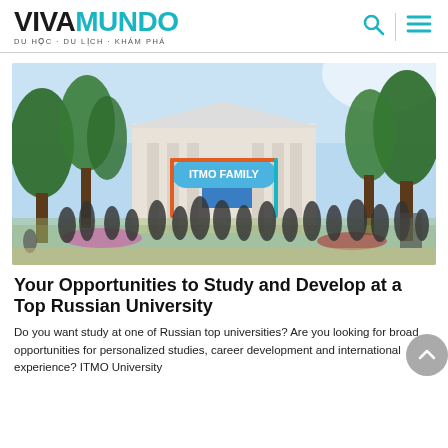VIVAMUNDO - DU HỌC · DU LỊCH · KHÁM PHÁ
[Figure (photo): Outdoor event at ITMO University campus. A crowd of students and people gathered under trees in front of a classical building. A colorful decorative arch reads 'ITMO FAMILY' in blue.]
Your Opportunities to Study and Develop at a Top Russian University
Do you want study at one of Russian top universities? Are you looking for broad opportunities for personalized studies, career development and international experience? ITMO University